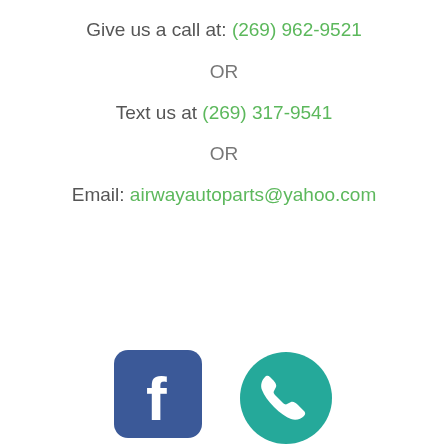Give us a call at: (269) 962-9521
OR
Text us at (269) 317-9541
OR
Email: airwayautoparts@yahoo.com
[Figure (illustration): Facebook icon (blue rounded square with white 'f' letter) and WhatsApp/phone icon (teal circle with white phone receiver)]